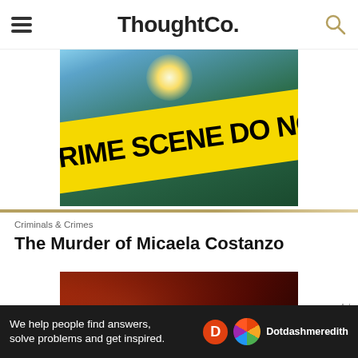ThoughtCo.
[Figure (photo): Crime scene tape reading 'CRIME SCENE DO NOT CRO...' diagonal yellow band over outdoor background with sunburst]
Criminals & Crimes
The Murder of Micaela Costanzo
[Figure (photo): Dark reddish-brown blurred photo, possibly blood or dark liquid]
Ad
We help people find answers, solve problems and get inspired. Dotdash meredith